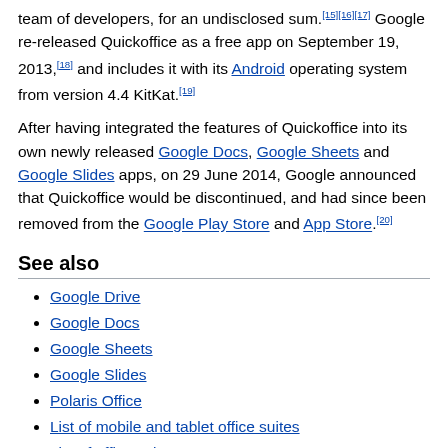team of developers, for an undisclosed sum.[15][16][17] Google re-released Quickoffice as a free app on September 19, 2013,[18] and includes it with its Android operating system from version 4.4 KitKat.[19]
After having integrated the features of Quickoffice into its own newly released Google Docs, Google Sheets and Google Slides apps, on 29 June 2014, Google announced that Quickoffice would be discontinued, and had since been removed from the Google Play Store and App Store.[20]
See also
Google Drive
Google Docs
Google Sheets
Google Slides
Polaris Office
List of mobile and tablet office suites
List of office suites
Comparison of office suites
List of word processors
Comparison of word processors